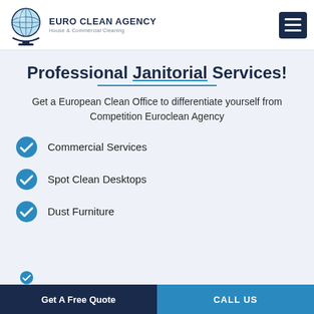[Figure (logo): Euro Clean Agency logo with globe icon and text 'EURO CLEAN AGENCY House & Commercial Cleaning']
Professional Janitorial Services!
Get a European Clean Office to differentiate yourself from Competition Euroclean Agency
Commercial Services
Spot Clean Desktops
Dust Furniture
Get A Free Quote | CALL US